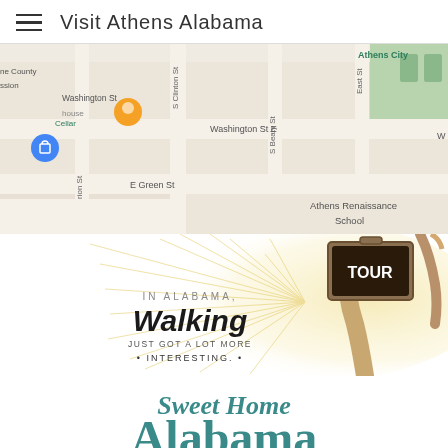Visit Athens Alabama
[Figure (map): Google Maps screenshot showing downtown Athens, Alabama streets including Washington St E, S Clinton St, S Beaty St, E Green St, East St, with markers for Athens City and Athens Renaissance School]
[Figure (illustration): Walking tour promotional banner: 'IN ALABAMA, Walking JUST GOT A LOT MORE INTERESTING.' with a hand holding a TOUR lantern/sign and radiating light rays on cream background]
[Figure (logo): Sweet Home Alabama logo text partially visible at bottom]